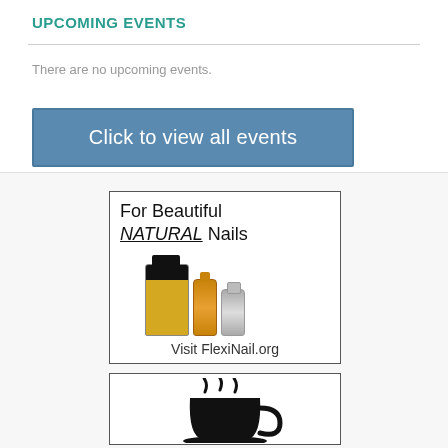UPCOMING EVENTS
There are no upcoming events.
[Figure (other): Blue button with white text reading 'Click to view all events']
[Figure (other): Advertisement for FlexiNail.org showing nail care products with text 'For Beautiful NATURAL Nails' and 'Visit FlexiNail.org']
[Figure (other): Advertisement with coffee cup logo, partially visible]